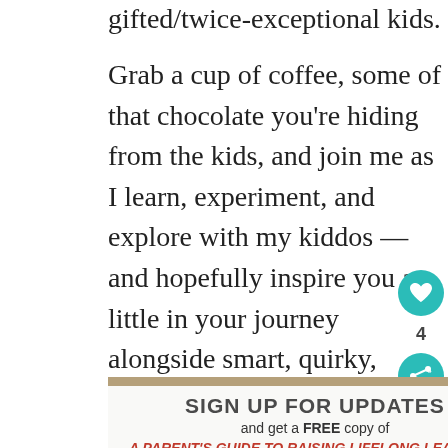gifted/twice-exceptional kids.
Grab a cup of coffee, some of that chocolate you're hiding from the kids, and join me as I learn, experiment, and explore with my kiddos — and hopefully inspire you a little in your journey alongside smart, quirky, creative kids, too!
[Figure (infographic): Sign up for updates banner with book cover image. Text reads: SIGN UP FOR UPDATES and get a FREE copy of A PARENT'S GUIDE TO RAISING LIFELONG LEARNERS by Colleen Kessler. Shows book cover image on right.]
WHAT'S NEXT → RLL #65: [Audioblog]...